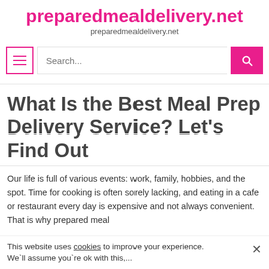preparedmealdelivery.net
preparedmealdelivery.net
[Figure (screenshot): Navigation bar with hamburger menu button, search input field with placeholder text 'Search...', and pink search button with magnifying glass icon]
What Is the Best Meal Prep Delivery Service? Let's Find Out
Our life is full of various events: work, family, hobbies, and the spot. Time for cooking is often sorely lacking, and eating in a cafe or restaurant every day is expensive and not always convenient. That is why prepared meal
This website uses cookies to improve your experience. We`ll assume you`re ok with this,...